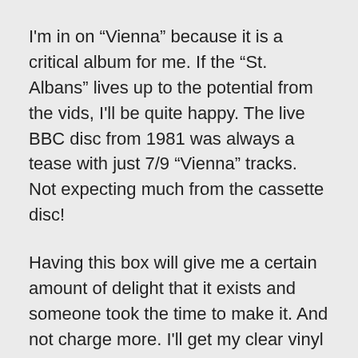I'm in on “Vienna” because it is a critical album for me. If the “St. Albans” lives up to the potential from the vids, I'll be quite happy. The live BBC disc from 1981 was always a tease with just 7/9 “Vienna” tracks. Not expecting much from the cassette disc!
Having this box will give me a certain amount of delight that it exists and someone took the time to make it. And not charge more. I'll get my clear vinyl lust sated byt he “Sleepwalk” 12” at the end of the month [hopefully].
I expect to have more attention going to the